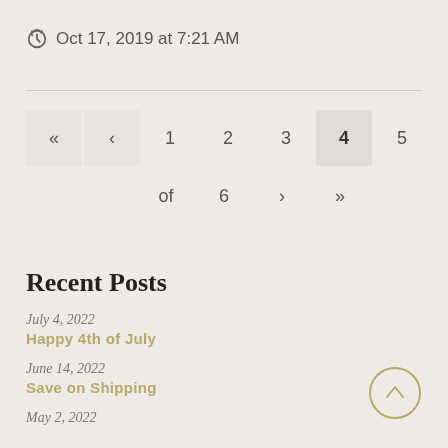🕰 Oct 17, 2019 at 7:21 AM
« < 1 2 3 4 5 6 of 6 > »
Recent Posts
July 4, 2022
Happy 4th of July
June 14, 2022
Save on Shipping
May 2, 2022